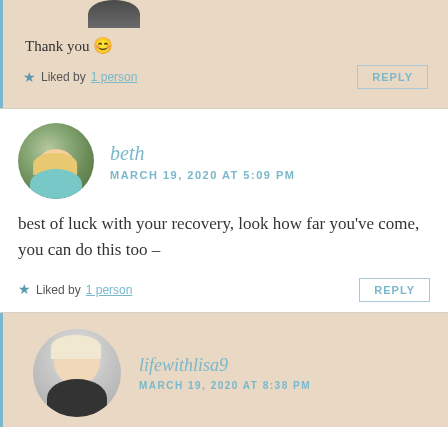[Figure (photo): Partial avatar image at top, cropped]
Thank you 😊
★ Liked by 1 person
REPLY
[Figure (photo): Avatar photo of beth, woman with short blonde hair in teal shirt]
beth
MARCH 19, 2020 AT 5:09 PM
best of luck with your recovery, look how far you've come, you can do this too –
★ Liked by 1 person
REPLY
[Figure (photo): Avatar photo of lifewithlisa9, woman in dark outfit]
lifewithlisa9
MARCH 19, 2020 AT 8:38 PM